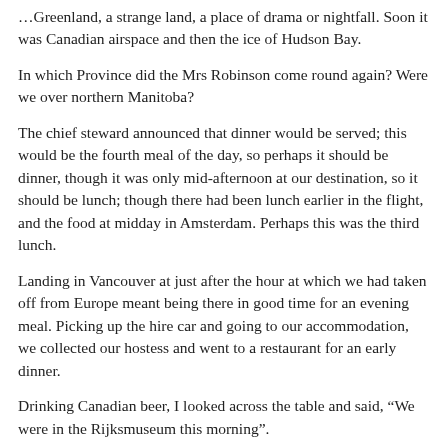…Greenland, a strange land, a place of drama or nightfall. Soon it was Canadian airspace and then the ice of Hudson Bay.
In which Province did the Mrs Robinson come round again? Were we over northern Manitoba?
The chief steward announced that dinner would be served; this would be the fourth meal of the day, so perhaps it should be dinner, though it was only mid-afternoon at our destination, so it should be lunch; though there had been lunch earlier in the flight, and the food at midday in Amsterdam. Perhaps this was the third lunch.
Landing in Vancouver at just after the hour at which we had taken off from Europe meant being there in good time for an evening meal. Picking up the hire car and going to our accommodation, we collected our hostess and went to a restaurant for an early dinner.
Drinking Canadian beer, I looked across the table and said, “We were in the Rijksmuseum this morning”.
Each time I visit someone in hospital who has undergone anaesthesia; who is coping with high levels of medication; who